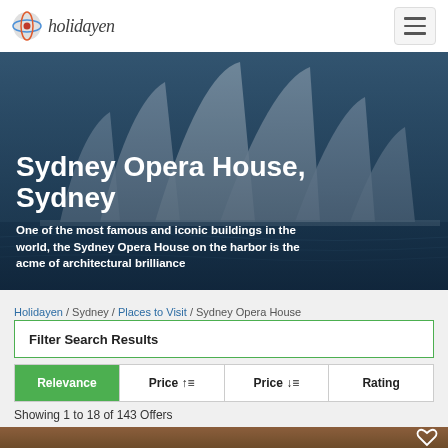holidayen
[Figure (photo): Sydney Opera House at dusk with blue tones, iconic sail-shaped roof structures visible against harbor and sky]
Sydney Opera House, Sydney
One of the most famous and iconic buildings in the world, the Sydney Opera House on the harbor is the acme of architectural brilliance
Holidayen / Sydney / Places to Visit / Sydney Opera House
Filter Search Results
Relevance  Price ↑≡  Price ↓≡  Rating
Showing 1 to 18 of 143 Offers
[Figure (photo): Partial bottom strip showing interior of a boat or venue with wooden structures and blue sky]